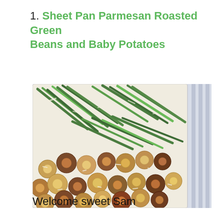1. Sheet Pan Parmesan Roasted Green Beans and Baby Potatoes
[Figure (photo): Overhead photo of a sheet pan with roasted green beans and halved baby potatoes, sprinkled with parmesan, on parchment paper, with a striped towel visible on the right edge.]
Welcome sweet Sam